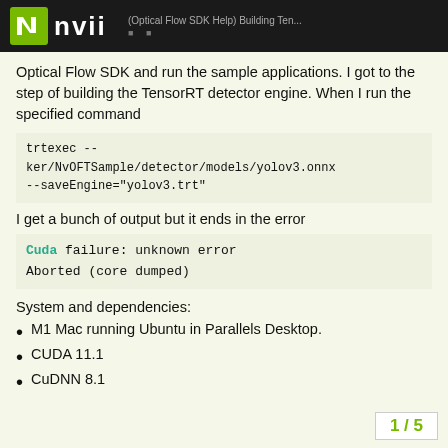(Optical Flow SDK Help) Building Ten... | NVII
Optical Flow SDK and run the sample applications. I got to the step of building the TensorRT detector engine. When I run the specified command
trtexec --
onnx=/home/Downloads/OpticalFlowSDK/NvOFTracker/NvOFTSample/detector/models/yolov3.onnx
--saveEngine="yolov3.trt"
I get a bunch of output but it ends in the error
Cuda failure: unknown error
Aborted (core dumped)
System and dependencies:
M1 Mac running Ubuntu in Parallels Desktop.
CUDA 11.1
CuDNN 8.1